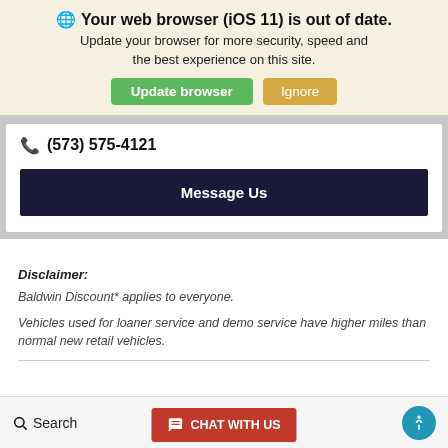Your web browser (iOS 11) is out of date.
Update your browser for more security, speed and the best experience on this site.
(573) 575-4121
Message Us
Disclaimer:
Baldwin Discount* applies to everyone.
Vehicles used for loaner service and demo service have higher miles than normal new retail vehicles.
Search   CHAT WITH US   ox   [accessibility icon]